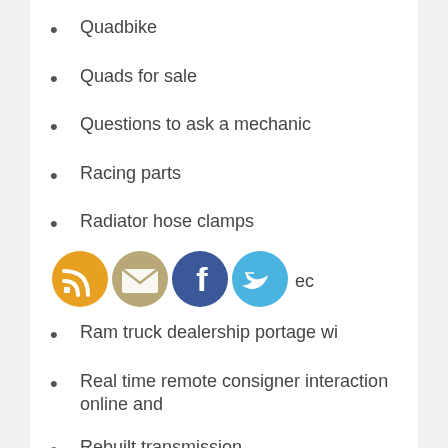Quadbike
Quads for sale
Questions to ask a mechanic
Racing parts
Radiator hose clamps
[Figure (infographic): Four social media icons in circles: RSS (orange), Email (tan/khaki), Facebook (dark blue), Twitter (light blue), with partial text label visible]
Ram truck dealership portage wi
Real time remote consigner interaction online and
Rebuilt transmission
Recharge
Recharge station